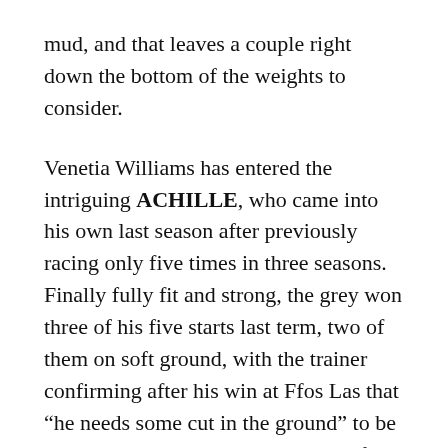mud, and that leaves a couple right down the bottom of the weights to consider.
Venetia Williams has entered the intriguing ACHILLE, who came into his own last season after previously racing only five times in three seasons. Finally fully fit and strong, the grey won three of his five starts last term, two of them on soft ground, with the trainer confirming after his win at Ffos Las that “he needs some cut in the ground” to be seen at his best. Williams has a terrific record running her chasers fresh at this time of year, so a lack of prep run wouldn’t be a concern; more of a worry is a lack of proven form at Cheltenham, or indeed over this extended trip, so stakes